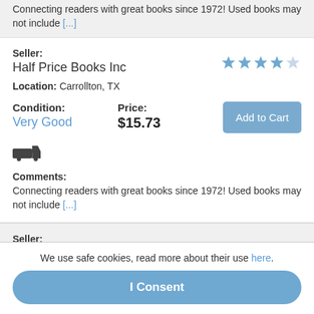Connecting readers with great books since 1972! Used books may not include [...]
Seller: Half Price Books Inc
Location: Carrollton, TX
Condition: Very Good
Price: $15.73
Comments: Connecting readers with great books since 1972! Used books may not include [...]
Seller: Bonita
We use safe cookies, read more about their use here.
I Consent